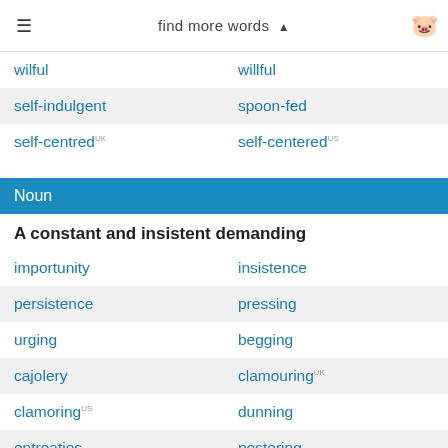find more words ▲
wilful | willful
self-indulgent | spoon-fed
self-centredUK | self-centeredUS
Noun
A constant and insistent demanding
importunity | insistence
persistence | pressing
urging | begging
cajolery | clammouringUK
clamoringUS | dunning
entreaties | pestering
solicitations | supplication
insistency | emphasis